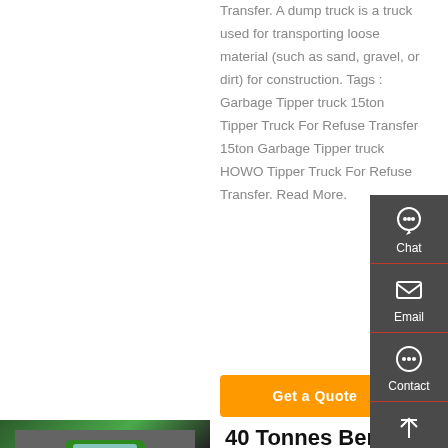Transfer. A dump truck is a truck used for transporting loose material (such as sand, gravel, or dirt) for construction. Tags : Garbage Tipper truck 15ton Tipper Truck For Refuse Transfer 15ton Garbage Tipper truck HOWO Tipper Truck For Refuse Transfer. Read More.
Get a Quote
[Figure (photo): A green HOWO dump/tipper truck parked in a warehouse or showroom, viewed from front angle. Other trucks visible in background.]
40 Tonnes Benne Conçu Pour Diverses Industries